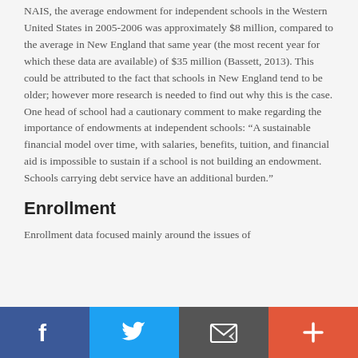NAIS, the average endowment for independent schools in the Western United States in 2005-2006 was approximately $8 million, compared to the average in New England that same year (the most recent year for which these data are available) of $35 million (Bassett, 2013). This could be attributed to the fact that schools in New England tend to be older; however more research is needed to find out why this is the case. One head of school had a cautionary comment to make regarding the importance of endowments at independent schools: “A sustainable financial model over time, with salaries, benefits, tuition, and financial aid is impossible to sustain if a school is not building an endowment. Schools carrying debt service have an additional burden.”
Enrollment
Enrollment data focused mainly around the issues of
Facebook | Twitter | Email | +